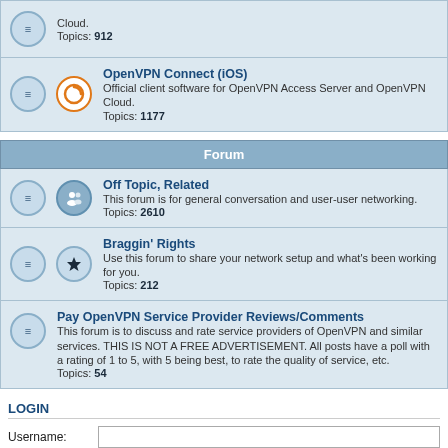Cloud. Topics: 912
OpenVPN Connect (iOS)
Official client software for OpenVPN Access Server and OpenVPN Cloud. Topics: 1177
Forum
Off Topic, Related
This forum is for general conversation and user-user networking. Topics: 2610
Braggin' Rights
Use this forum to share your network setup and what's been working for you. Topics: 212
Pay OpenVPN Service Provider Reviews/Comments
This forum is to discuss and rate service providers of OpenVPN and similar services. THIS IS NOT A FREE ADVERTISEMENT. All posts have a poll with a rating of 1 to 5, with 5 being best, to rate the quality of service, etc. Topics: 54
LOGIN
Username:
Password:
Remember me
WHO IS ONLINE
In total there are 78 users online :: 4 registered, 1 hidden and 73 guests (based on users